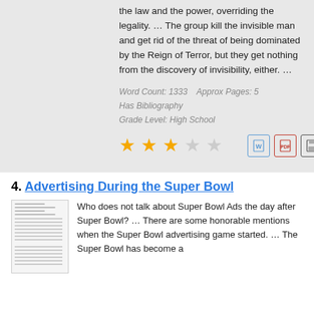the law and the power, overriding the legality. … The group kill the invisible man and get rid of the threat of being dominated by the Reign of Terror, but they get nothing from the discovery of invisibility, either. …
Word Count: 1333    Approx Pages: 5
Has Bibliography
Grade Level: High School
[Figure (other): Three filled gold stars and two empty stars (rating), plus Word, PDF, and save icons]
4. Advertising During the Super Bowl
[Figure (other): Thumbnail preview of a document page with text lines]
Who does not talk about Super Bowl Ads the day after Super Bowl? … There are some honorable mentions when the Super Bowl advertising game started. … The Super Bowl has become a